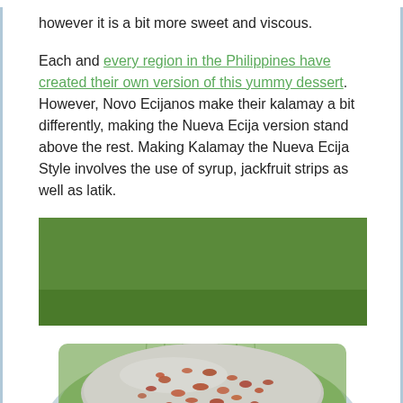however it is a bit more sweet and viscous.
Each and every region in the Philippines have created their own version of this yummy dessert. However, Novo Ecijanos make their kalamay a bit differently, making the Nueva Ecija version stand above the rest. Making Kalamay the Nueva Ecija Style involves the use of syrup, jackfruit strips as well as latik.
[Figure (photo): A round flat kalamay (Filipino rice cake) on a banana leaf on a plate, topped with latik (golden-brown coconut curds), with green grass in the background.]